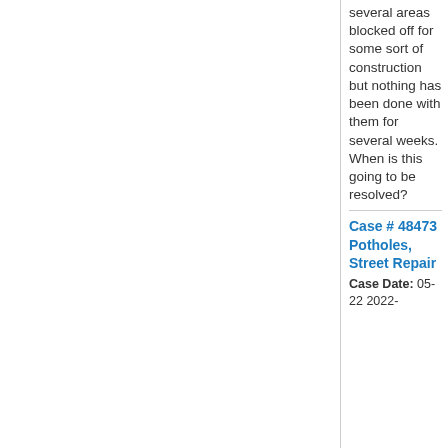several areas blocked off for some sort of construction but nothing has been done with them for several weeks. When is this going to be resolved?
Case # 48473 Potholes, Street Repair
Case Date: 05-22 2022-